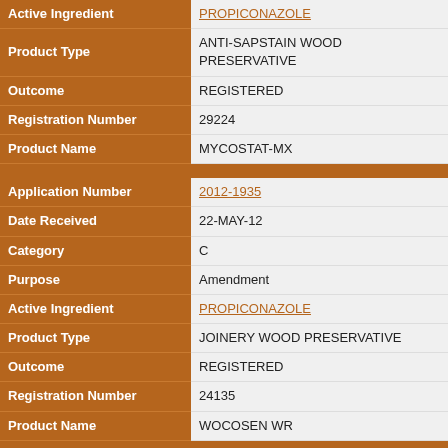| Field | Value |
| --- | --- |
| Active Ingredient | PROPICONAZOLE |
| Product Type | ANTI-SAPSTAIN WOOD PRESERVATIVE |
| Outcome | REGISTERED |
| Registration Number | 29224 |
| Product Name | MYCOSTAT-MX |
| Application Number | 2012-1935 |
| Date Received | 22-MAY-12 |
| Category | C |
| Purpose | Amendment |
| Active Ingredient | PROPICONAZOLE |
| Product Type | JOINERY WOOD PRESERVATIVE |
| Outcome | REGISTERED |
| Registration Number | 24135 |
| Product Name | WOCOSEN WR |
| Application Number | 2012-1936 |
| Date Received | 22-MAY-12 |
| Category | C |
| Purpose | Amendment |
| Active Ingredient | PROPICONAZOLE |
| Product Type | JOINERY WOOD PRESERVATIVE |
| Outcome | REGISTERED |
| Registration Number | 24134 |